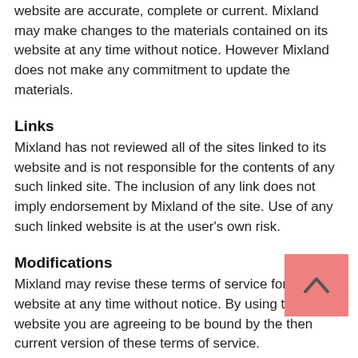website are accurate, complete or current. Mixland may make changes to the materials contained on its website at any time without notice. However Mixland does not make any commitment to update the materials.
Links
Mixland has not reviewed all of the sites linked to its website and is not responsible for the contents of any such linked site. The inclusion of any link does not imply endorsement by Mixland of the site. Use of any such linked website is at the user's own risk.
Modifications
Mixland may revise these terms of service for its website at any time without notice. By using this website you are agreeing to be bound by the then current version of these terms of service.
Governing Law
These terms and conditions are governed by and construed in accordance with the laws of